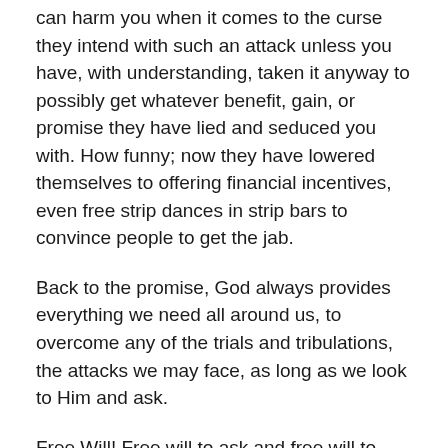can harm you when it comes to the curse they intend with such an attack unless you have, with understanding, taken it anyway to possibly get whatever benefit, gain, or promise they have lied and seduced you with. How funny; now they have lowered themselves to offering financial incentives, even free strip dances in strip bars to convince people to get the jab.
Back to the promise, God always provides everything we need all around us, to overcome any of the trials and tribulations, the attacks we may face, as long as we look to Him and ask.
Free Will! Free will to ask and free will to ignore.
You can combat just about any issue including all sicknesses, infirmity, attacks, literally open the door of the